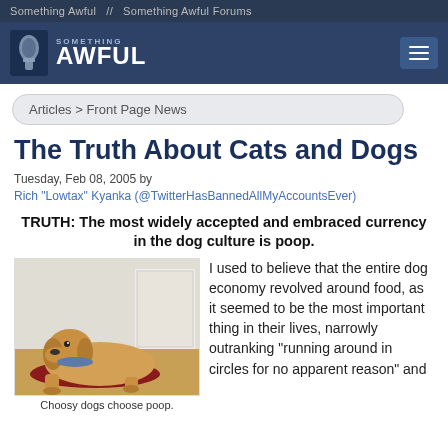Something Awful  //  Something Awful Forums
[Figure (logo): Something Awful logo with blue background and grenade icon]
Articles > Front Page News
The Truth About Cats and Dogs
Tuesday, Feb 08, 2005 by Rich "Lowtax" Kyanka (@TwitterHasBannedAllMyAccountsEver)
TRUTH: The most widely accepted and embraced currency in the dog culture is poop.
[Figure (photo): Golden retriever dog lying on a red mat on hardwood floor near a door, wearing a bandana]
Choosy dogs choose poop.
I used to believe that the entire dog economy revolved around food, as it seemed to be the most important thing in their lives, narrowly outranking "running around in circles for no apparent reason" and